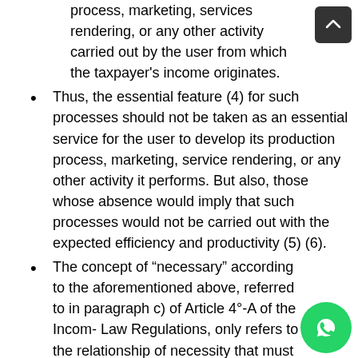process, marketing, services rendering, or any other activity carried out by the user from which the taxpayer's income originates.
Thus, the essential feature (4) for such processes should not be taken as an essential service for the user to develop its production process, marketing, service rendering, or any other activity it performs. But also, those whose absence would imply that such processes would not be carried out with the expected efficiency and productivity (5) (6).
The concept of “necessary” according to the aforementioned above, referred to in paragraph c) of Article 4°-A of the Income Law Regulations, only refers to the relationship of necessity that must be